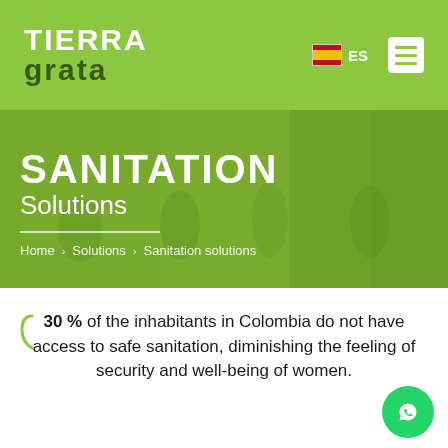[Figure (logo): Tierra Grata logo in white and dark green text on lime green header background]
[Figure (screenshot): Lime green website header with Tierra Grata logo, Spanish flag ES language selector, and hamburger menu icon]
SANITATION Solutions
Home > Solutions > Sanitation solutions
30 % of the inhabitants in Colombia do not have access to safe sanitation, diminishing the feeling of security and well-being of women.